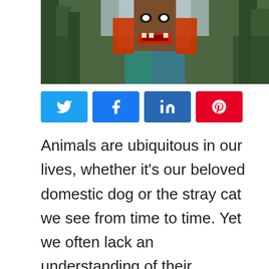[Figure (photo): Colorful totem pole with carved face and bright colors (red, green, blue), surrounded by trees in a forest setting.]
[Figure (infographic): Social sharing buttons: Twitter (light blue), Facebook (blue), LinkedIn (dark blue), Pinterest (red), each with respective icon.]
Animals are ubiquitous in our lives, whether it's our beloved domestic dog or the stray cat we see from time to time. Yet we often lack an understanding of their symbolic nature and the key characteristics that define them. That's why we created